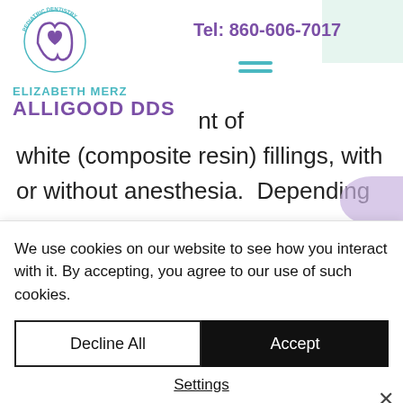[Figure (logo): Elizabeth Merz Alligood DDS Pediatric Dentistry logo with tooth and heart icon]
Tel: 860-606-7017
nt of white (composite resin) fillings, with or without anesthesia.  Depending on the number of teeth needing to be restored, the location of the teeth, and the behavior of the patient
We use cookies on our website to see how you interact with it. By accepting, you agree to our use of such cookies.
Decline All
Accept
Settings